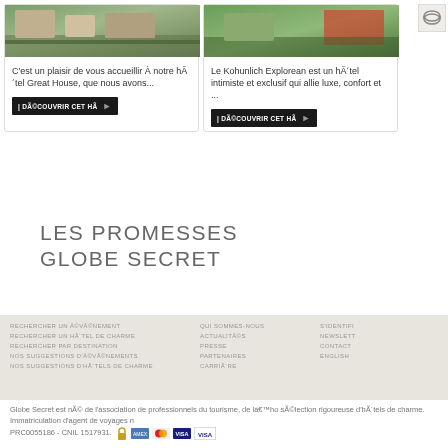[Figure (photo): Hotel garden/exterior photo on left card]
C'est un plaisir de vous accueillir À notre hÃ´tel Great House, que nous avons...
| DÃ©couvrir cet hÃ
[Figure (photo): Hotel garden/exterior photo on right card]
Le Kohunlich Explorean est un hÃ´tel intimiste et exclusif qui allie luxe, confort et ...
| DÃ©couvrir cet hÃ
LES PROMESSES
GLOBE SECRET
RECHERCHER UN Å©VÃ©NEMENT
RECHERCHER UN HÃ´TEL DE CHARME
RECHERCHER PAR DESTINATION
NOS SUGGESTIONS D'Å©VÃ©NEMENTS
NOS SUGGESTIONS D'HÃ´TELS DE CHARME
QUI SOMMES-NOUS
ACTUALITÃ©S
PRESSE
PARTENAIRES
CARRIÃ¨RE
S'IDENTIFI
NEWSLETT
CONTACT
ENGLISH
Globe Secret est nÃ© de l'association de professionnels du tourisme, de là€™ho sÃ©lection rigoureuse d'hÃ´tels de charme. Immatriculation d'agent de voyages n PRC0055186 - CNIL 1517931.